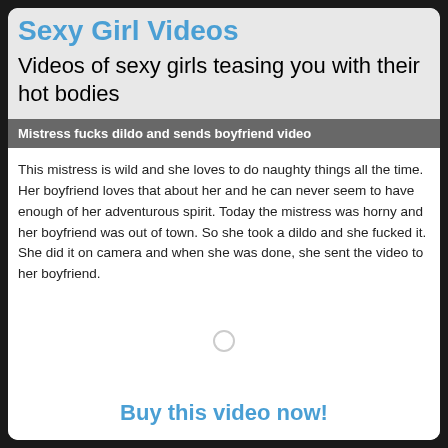Sexy Girl Videos
Videos of sexy girls teasing you with their hot bodies
Mistress fucks dildo and sends boyfriend video
This mistress is wild and she loves to do naughty things all the time. Her boyfriend loves that about her and he can never seem to have enough of her adventurous spirit. Today the mistress was horny and her boyfriend was out of town. So she took a dildo and she fucked it. She did it on camera and when she was done, she sent the video to her boyfriend.
Buy this video now!